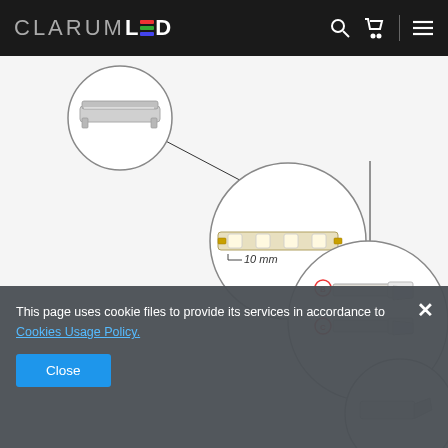CLARUM LED
[Figure (schematic): LED strip product diagram showing zoomed circular callouts: top-left shows an aluminum LED channel profile, center-left shows an LED strip segment with '10 mm' dimension label, center-right shows LED strip end connector with two variants labeled B and C, bottom-right shows a partial LED strip end cap component. Lines connect each callout to the main product diagram.]
This page uses cookie files to provide its services in accordance to Cookies Usage Policy.
Close